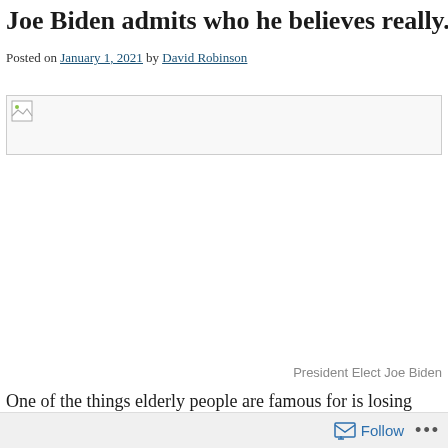Joe Biden admits who he believes really...
Posted on January 1, 2021 by David Robinson
[Figure (photo): Image placeholder for a photo of President Elect Joe Biden]
President Elect Joe Biden
One of the things elderly people are famous for is losing their fi... that stops them from saying inappropriate things. Many lose the...